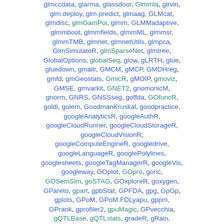glmccdata, glarma, glassdoor, Glmmla, glrvin, glm.deploy, glm.predict, glmaag, GLMcat, glmdisc, glmGamPoi, glmm, GLMMadaptive, glmmboot, glmmfields, glmmML, glmmsr, glmmTMB, glmnet, glmnetUtils, glmpca, GlmSimulatoR, glmSparseNet, glmtree, GlobalOptions, globalSeq, glow, gLRTH, glue, gluedown, gmailr, GMCM, gMCP, GMDHreg, gmfd, gmGeostats, GmicR, gMOIP, gmoviz, GMSE, gmvarkit, GNET2, gnomonicM, gnorm, GNRS, GNSSseg, goffda, GOfuncR, goldi, golem, GoodmanKruskal, goodpractice, googleAnalyticsR, googleAuthR, googleCloudRunner, googleCloudStorageR, googleCloudVisionR, googleComputeEngineR, googledrive, googleLanguageR, googlePolylines, googlesheets, googleTagManagerR, googleVis, googleway, GOplot, GOpro, goric, GOSemSim, goSTAG, GOxploreR, goxygen, GPareto, gpart, gpbStat, GPFDA, gpg, GpGp, gplots, GPoM, GPoM.FDLyapu, gppm, GPrank, gprofiler2, gpuMagic, GPvecchia, gQTLBase, gQTLstats, gradeR, gRain, grainscape, gramEvol, gramm4R, GRANBase, graper, grapes, grapherator, graphite